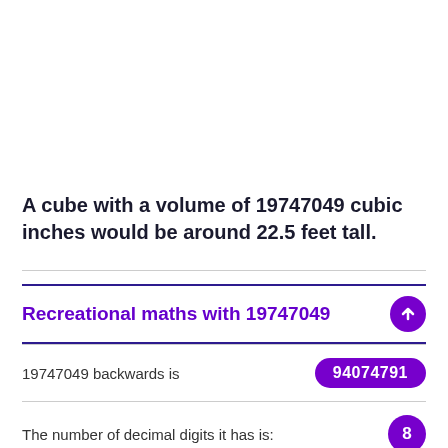A cube with a volume of 19747049 cubic inches would be around 22.5 feet tall.
Recreational maths with 19747049
19747049 backwards is 94074791
The number of decimal digits it has is: 8
The sum of 19747049's digits is: